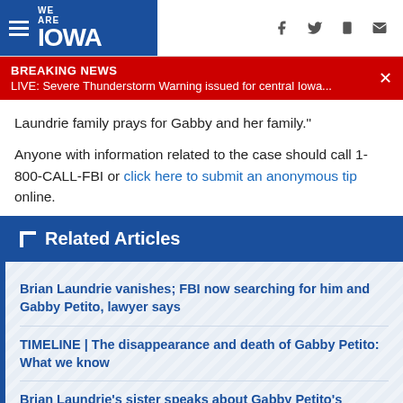WE ARE IOWA
BREAKING NEWS
LIVE: Severe Thunderstorm Warning issued for central Iowa...
Laundrie family prays for Gabby and her family."
Anyone with information related to the case should call 1-800-CALL-FBI or click here to submit an anonymous tip online.
Related Articles
Brian Laundrie vanishes; FBI now searching for him and Gabby Petito, lawyer says
TIMELINE | The disappearance and death of Gabby Petito: What we know
Brian Laundrie's sister speaks about Gabby Petito's